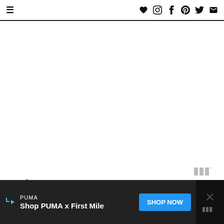≡  ♥  [instagram]  f  [pinterest]  [twitter]  [mail]
bananas
peanut butter sandwiches
apple sauce pouches
goldfish crackers
[Figure (screenshot): Advertisement banner: PUMA brand ad with text 'Shop PUMA x First Mile', a blue 'SHOP NOW' button, and a close X button on the right side. Dark background.]